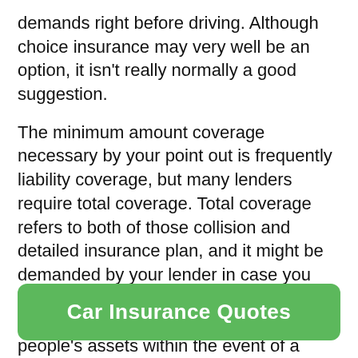demands right before driving. Although choice insurance may very well be an option, it isn't really normally a good suggestion.
The minimum amount coverage necessary by your point out is frequently liability coverage, but many lenders require total coverage. Total coverage refers to both of those collision and detailed insurance plan, and it might be demanded by your lender in case you are funding your car. Legal responsibility coverage covers damages to other people's assets within the event of a collision but not your own auto or self. Bodily damage legal responsibility and property harm liability insurance plan might be mixed to provide you with the best protection at an exceedingly affordable value.
Car Insurance Quotes